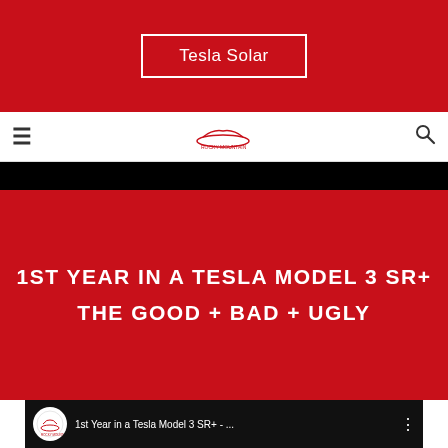[Figure (screenshot): Red banner at top with 'Tesla Solar' button outlined in white]
Tesla Solar
[Figure (logo): Navigation bar with hamburger menu, Rocky Mountain logo, and search icon]
1ST YEAR IN A TESLA MODEL 3 SR+
THE GOOD + BAD + UGLY
[Figure (screenshot): YouTube video thumbnail showing '1st Year in a Tesla Model 3 SR+ - ...' with Rocky Mountain channel logo, TESLA EXPOSED text overlay, and a person in front of a car]